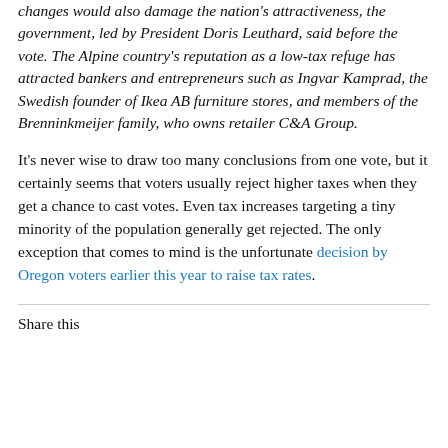changes would also damage the nation's attractiveness, the government, led by President Doris Leuthard, said before the vote. The Alpine country's reputation as a low-tax refuge has attracted bankers and entrepreneurs such as Ingvar Kamprad, the Swedish founder of Ikea AB furniture stores, and members of the Brenninkmeijer family, who owns retailer C&A Group.
It's never wise to draw too many conclusions from one vote, but it certainly seems that voters usually reject higher taxes when they get a chance to cast votes. Even tax increases targeting a tiny minority of the population generally get rejected. The only exception that comes to mind is the unfortunate decision by Oregon voters earlier this year to raise tax rates.
Share this